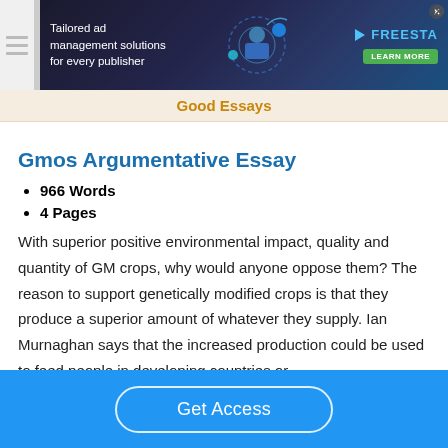[Figure (screenshot): Advertisement banner: dark background with 'Tailored ad management solutions for every publisher' text, illustrated graphic with person and tech icons, FREESTA logo with teal checkmark icon, green LEARN MORE button, and X close button.]
Good Essays
Gmos Argumentative Essay
966 Words
4 Pages
With superior positive environmental impact, quality and quantity of GM crops, why would anyone oppose them? The reason to support genetically modified crops is that they produce a superior amount of whatever they supply. Ian Murnaghan says that the increased production could be used to feed people in developing countries or
Get Access